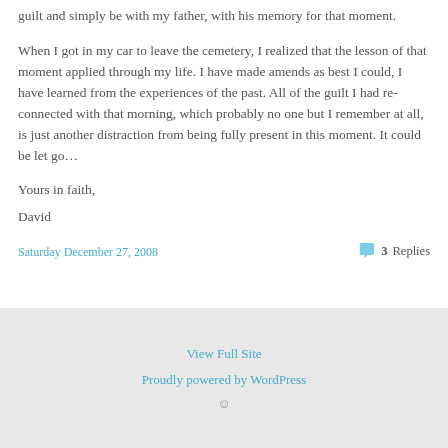guilt and simply be with my father, with his memory for that moment.
When I got in my car to leave the cemetery, I realized that the lesson of that moment applied through my life. I have made amends as best I could, I have learned from the experiences of the past. All of the guilt I had re-connected with that morning, which probably no one but I remember at all, is just another distraction from being fully present in this moment. It could be let go…
Yours in faith,
David
Saturday December 27, 2008
3 Replies
View Full Site
Proudly powered by WordPress